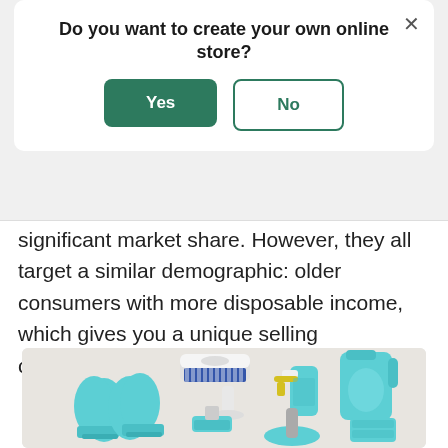Do you want to create your own online store?
Yes
No
significant market share. However, they all target a similar demographic: older consumers with more disposable income, which gives you a unique selling opportunity.
[Figure (photo): Flat lay photo of cleaning supplies including teal rubber gloves, a scrub brush, a spray bottle, a jug of cleaning liquid, a small brush, a dustpan, and a sponge on a light background.]